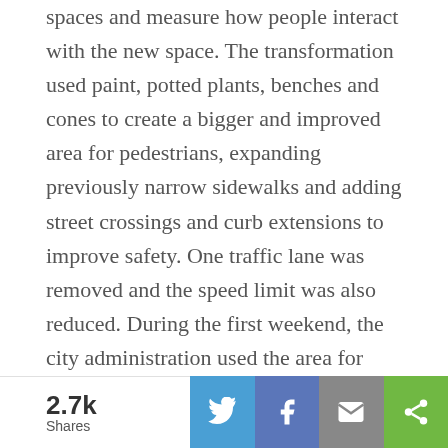spaces and measure how people interact with the new space. The transformation used paint, potted plants, benches and cones to create a bigger and improved area for pedestrians, expanding previously narrow sidewalks and adding street crossings and curb extensions to improve safety. One traffic lane was removed and the speed limit was also reduced. During the first weekend, the city administration used the area for musical performances, professional workshops and health screenings.
The goal of the initiative was to cultivate champions of human-oriented urban design and to show residents and cities what can be done to enhance public space. For two weeks, residents were able to provide feedback on the new urban design through an online platform developed
2.7k Shares